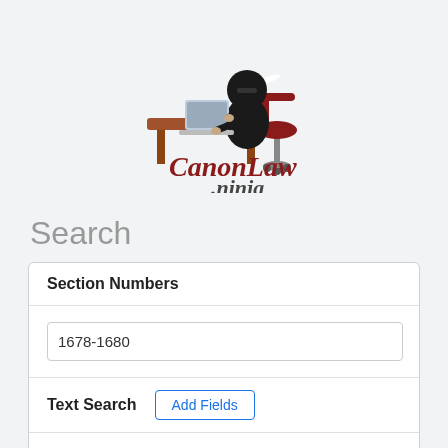[Figure (logo): CanonLaw.ninja logo: a ninja character sitting at a desk with a laptop, with the text 'CanonLaw' in dark red serif font and '.ninja' below in dark gray]
Search
Section Numbers
1678-1680
Text Search
Add Fields